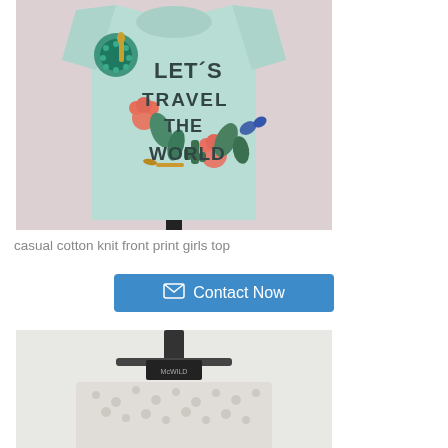[Figure (photo): A light mint green girls t-shirt on a mannequin stand with floral print and text reading 'LET'S TRAVEL THE WORLD', decorated with sequins and floral appliques, photographed against a light pink background.]
casual cotton knit front print girls top
[Figure (other): A button or interactive element with envelope icon and text 'Contact Now' on a blue background]
[Figure (photo): Partial view of another girls top on a hanger, appears to be a lace or textured garment, photographed against white background.]